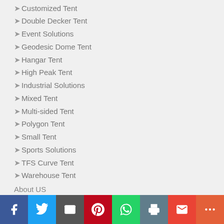➤ Customized Tent
➤ Double Decker Tent
➤ Event Solutions
➤ Geodesic Dome Tent
➤ Hangar Tent
➤ High Peak Tent
➤ Industrial Solutions
➤ Mixed Tent
➤ Multi-sided Tent
➤ Polygon Tent
➤ Small Tent
➤ Sports Solutions
➤ TFS Curve Tent
➤ Warehouse Tent
About US
[Figure (infographic): Social sharing bar with icons for Facebook, Twitter, Email, Pinterest, WhatsApp, Print, Gmail, and More]